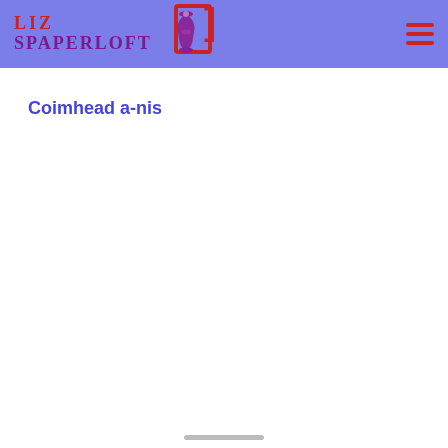[Figure (logo): Liz Spaperloft logo with corset icon in purple on a purple/blue header background]
Coimhead a-nis